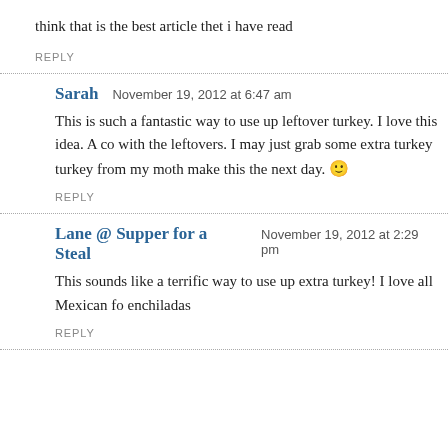think that is the best article thet i have read
REPLY
Sarah   November 19, 2012 at 6:47 am
This is such a fantastic way to use up leftover turkey. I love this idea. A co with the leftovers. I may just grab some extra turkey turkey from my moth make this the next day. 🙂
REPLY
Lane @ Supper for a Steal   November 19, 2012 at 2:29 pm
This sounds like a terrific way to use up extra turkey! I love all Mexican fo enchiladas
REPLY